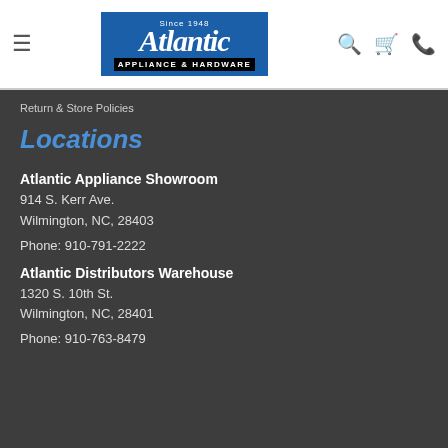[Figure (logo): Atlantic Appliance & Hardware logo, blue box with italic white text, Since 1948]
Return & Store Policies
Locations
Atlantic Appliance Showroom
914 S. Kerr Ave.
Wilmington, NC, 28403

Phone: 910-791-2222
Atlantic Distributors Warehouse
1320 S. 10th St.
Wilmington, NC, 28401

Phone: 910-763-8479